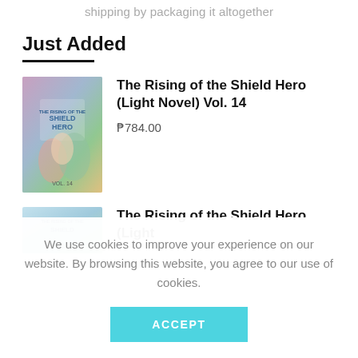shipping by packaging it altogether
Just Added
The Rising of the Shield Hero (Light Novel) Vol. 14
P784.00
[Figure (illustration): Book cover for The Rising of the Shield Hero Light Novel Vol. 14, featuring anime-style characters with colorful artwork]
The Rising of the Shield Hero (Light
[Figure (illustration): Book cover for The Rising of the Shield Hero Light Novel, partially visible, blue and green tones]
We use cookies to improve your experience on our website. By browsing this website, you agree to our use of cookies.
ACCEPT